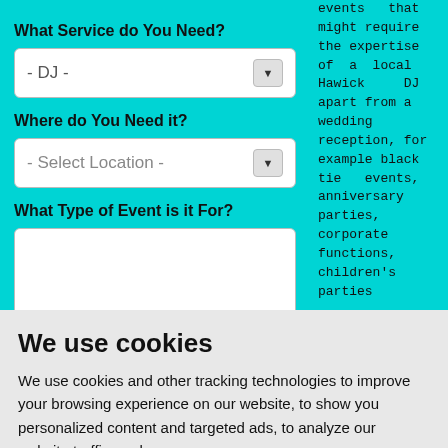What Service do You Need?
- DJ -
Where do You Need it?
- Select Location -
What Type of Event is it For?
events that might require the expertise of a local Hawick DJ apart from a wedding reception, for example black tie events, anniversary parties, corporate functions, children's parties
We use cookies
We use cookies and other tracking technologies to improve your browsing experience on our website, to show you personalized content and targeted ads, to analyze our website traffic, and